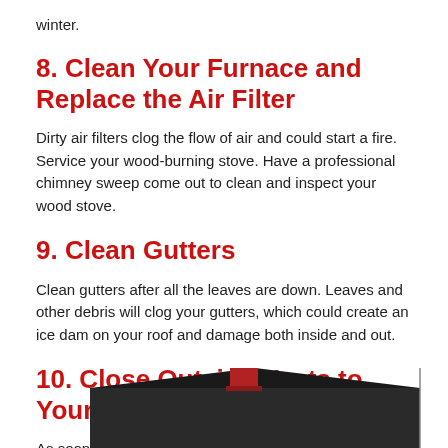winter.
8. Clean Your Furnace and Replace the Air Filter
Dirty air filters clog the flow of air and could start a fire. Service your wood-burning stove. Have a professional chimney sweep come out to clean and inspect your wood stove.
9. Clean Gutters
Clean gutters after all the leaves are down. Leaves and other debris will clog your gutters, which could create an ice dam on your roof and damage both inside and out.
10. Close Outside Vents to Your House
As soon as it starts to get cold, close outside vents. Closing the vents will help winterize your home.
[Figure (photo): Partial view of a house roof with a red chimney and a dark roof, partially cut off at the bottom of the page.]